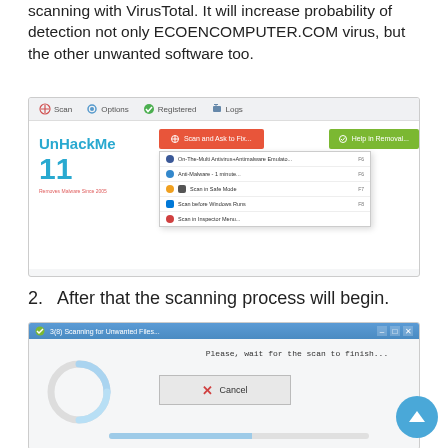scanning with VirusTotal. It will increase probability of detection not only ECOENCOMPUTER.COM virus, but the other unwanted software too.
[Figure (screenshot): UnHackMe version 11 application window showing scan dropdown menu with options: On-The-Multi Antivirus/Antimalware Emulator, Anti-Malware, Scan in Safe Mode, Scan before Windows Runs, Scan in Inspector Menu.]
2.  After that the scanning process will begin.
[Figure (screenshot): Dialog box titled '3(8) Scanning for Unwanted Files...' showing a spinner/progress circle, 'Please, wait for the scan to finish...' message, a Cancel button, and a progress bar at the bottom.]